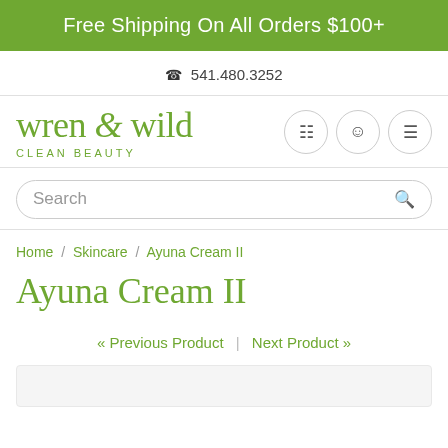Free Shipping On All Orders $100+
541.480.3252
[Figure (logo): Wren & Wild Clean Beauty logo in green serif font]
Search
Home / Skincare / Ayuna Cream II
Ayuna Cream II
« Previous Product  |  Next Product »